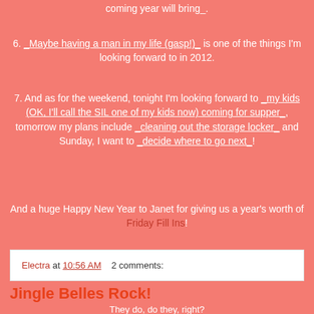of the year, I like to get excited about what the coming year will bring_.
6. _Maybe having a man in my life (gasp!)_ is one of the things I'm looking forward to in 2012.
7. And as for the weekend, tonight I'm looking forward to _my kids (OK, I'll call the SIL one of my kids now) coming for supper_, tomorrow my plans include _cleaning out the storage locker_ and Sunday, I want to _decide where to go next_!
And a huge Happy New Year to Janet for giving us a year's worth of Friday Fill Ins!
Electra at 10:56 AM    2 comments:
Jingle Belles Rock!
They do, do they, right?